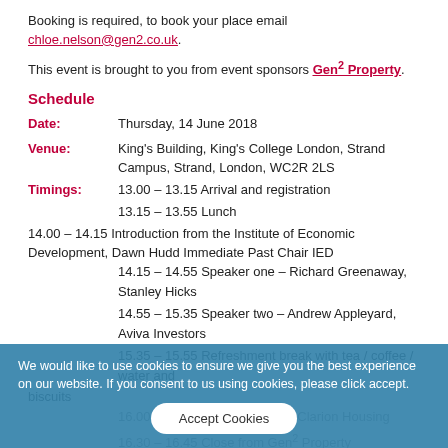Booking is required, to book your place email chloe.nelson@gen2.co.uk.
This event is brought to you from event sponsors Gen² Property.
Schedule
Date:   Thursday, 14 June 2018
Venue:   King's Building, King's College London, Strand Campus, Strand, London, WC2R 2LS
Timings:   13.00 – 13.15 Arrival and registration
13.15 – 13.55 Lunch
14.00 – 14.15 Introduction from the Institute of Economic Development, Dawn Hudd Immediate Past Chair IED
14.15 – 14.55 Speaker one – Richard Greenaway, Stanley Hicks
14.55 – 15.35 Speaker two – Andrew Appleyard, Aviva Investors
15.35 – 15.55 Refreshment break with tea / coffee / water and biscuits
16.00 – 16.30 Speaker three – Clarion Housing
16.30 – 16.45 Close from Gen² Property
Transport:   The nearest underground station is Temple, accessible via the Circle and District